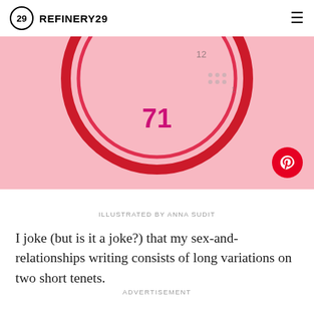REFINERY29
[Figure (illustration): Pink background illustration showing a clock face with red circular border and the number 71 in magenta/pink, partially cropped. A red Pinterest button is overlaid in the bottom right.]
ILLUSTRATED BY ANNA SUDIT
I joke (but is it a joke?) that my sex-and-relationships writing consists of long variations on two short tenets.
ADVERTISEMENT